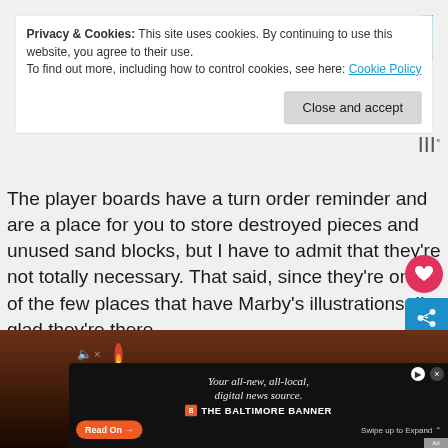Privacy & Cookies: This site uses cookies. By continuing to use this website, you agree to their use.
To find out more, including how to control cookies, see here: Cookie Policy
Close and accept
The player boards have a turn order reminder and are a place for you to store destroyed pieces and unused sand blocks, but I have to admit that they're not totally necessary. That said, since they're one of the few places that have Marby's illustrations, I'm glad they're there.
[Figure (screenshot): Bottom portion shows a dark brown/amber image (game board photo) with a flame/candle visible, overlaid by an advertisement for The Baltimore Banner with 'Read On' button and 'Swipe up to Expand' text, plus volume muted icon and close/pin buttons.]